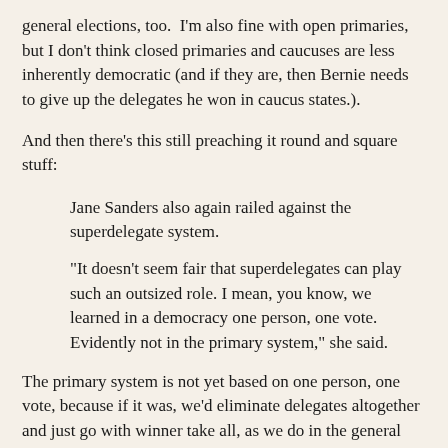general elections, too.  I'm also fine with open primaries, but I don't think closed primaries and caucuses are less inherently democratic (and if they are, then Bernie needs to give up the delegates he won in caucus states.).
And then there's this still preaching it round and square stuff:
Jane Sanders also again railed against the superdelegate system.
"It doesn't seem fair that superdelegates can play such an outsized role. I mean, you know, we learned in a democracy one person, one vote. Evidently not in the primary system," she said.
The primary system is not yet based on one person, one vote, because if it was, we'd eliminate delegates altogether and just go with winner take all, as we do in the general (we don't award electors proportionately every fourth November).  If we were to make the system that "democratic," Bernie Sanders would have been shut out months ago.  Again, what's the complaint here,